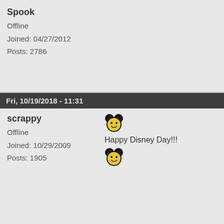Spook
Offline
Joined: 04/27/2012
Posts: 2786
Fri, 10/19/2018 - 11:31
scrappy
Offline
Joined: 10/29/2009
Posts: 1905
Happy Disney Day!!!